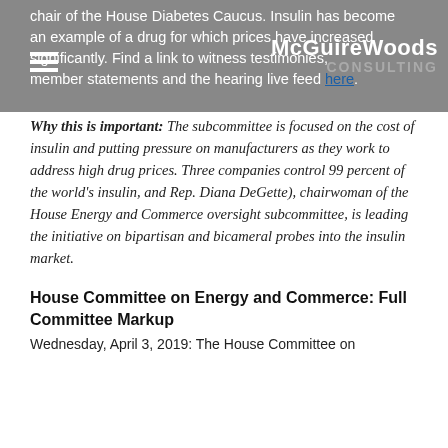chair of the House Diabetes Caucus. Insulin has become an example of a drug for which prices have increased significantly. Find a link to witness testimonies, member statements and the hearing live feed here.
Why this is important: The subcommittee is focused on the cost of insulin and putting pressure on manufacturers as they work to address high drug prices. Three companies control 99 percent of the world's insulin, and Rep. Diana DeGette), chairwoman of the House Energy and Commerce oversight subcommittee, is leading the initiative on bipartisan and bicameral probes into the insulin market.
House Committee on Energy and Commerce: Full Committee Markup
Wednesday, April 3, 2019: The House Committee on